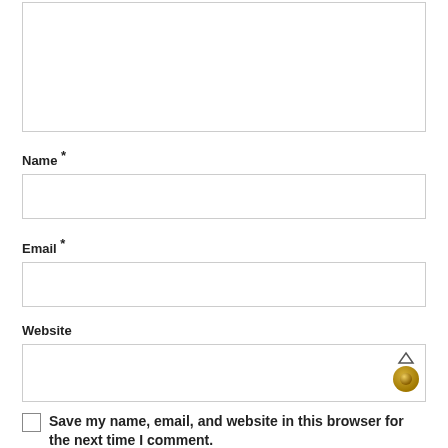[Figure (screenshot): A partially visible textarea (comment box) at the top of the page, with a resize handle at the bottom-right corner.]
Name *
[Figure (screenshot): An empty text input field for Name.]
Email *
[Figure (screenshot): An empty text input field for Email.]
Website
[Figure (screenshot): An empty text input field for Website with a scroll-to-top arrow and a gold coin/button icon overlaid at the bottom-right.]
Save my name, email, and website in this browser for the next time I comment.